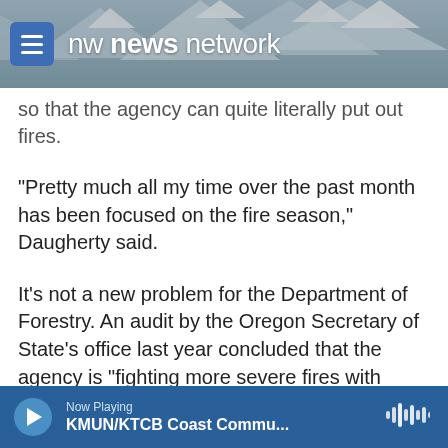nw news network
so that the agency can quite literally put out fires.
"Pretty much all my time over the past month has been focused on the fire season," Daugherty said.
It’s not a new problem for the Department of Forestry. An audit by the Oregon Secretary of State’s office last year concluded that the agency is “fighting more severe fires with about the same number of employees it had nearly 20 years ago.” Auditors said that’s left the agency’s employees over-worked and over-stressed.
‘Climate change is here. It’s real.’
Now Playing KMUN/KTCB Coast Commu...